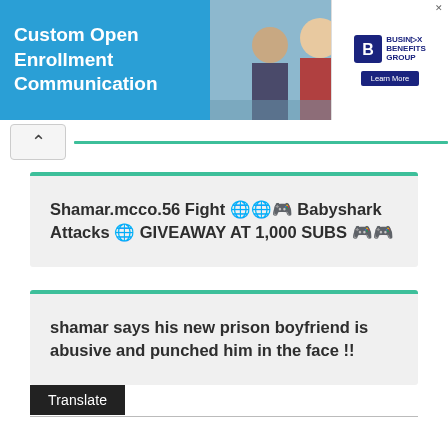[Figure (screenshot): Web page screenshot showing a banner ad for Custom Open Enrollment Communication with a photo of business people and a Business Benefits Group advertisement]
Shamar.mcco.56 Fight 🌐🌐🎮 Babyshark Attacks 🌐 GIVEAWAY AT 1,000 SUBS 🎮🎮
shamar says his new prison boyfriend is abusive and punched him in the face !!
Translate